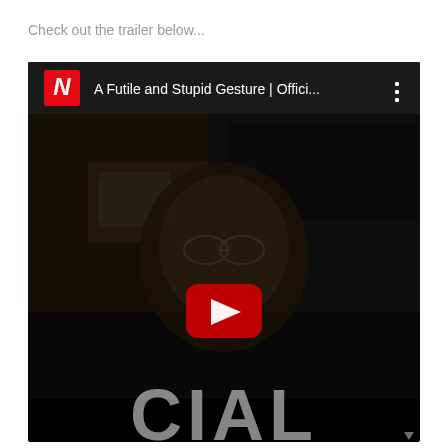Check out the trailer below...
[Figure (screenshot): YouTube video embed showing Netflix trailer for 'A Futile and Stupid Gesture | Offici...' with a dark thumbnail of an older bearded man with glasses, a YouTube play button in the center, and 'CIAL' text at the bottom. Netflix logo in top left of video header.]